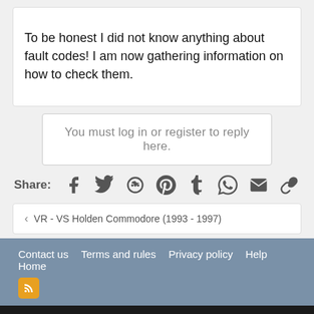To be honest I did not know anything about fault codes! I am now gathering information on how to check them.
You must log in or register to reply here.
Share:
< VR - VS Holden Commodore (1993 - 1997)
Contact us  Terms and rules  Privacy policy  Help  Home
Community platform by XenForo® © 2010-2022 XenForo Ltd.
Link Checker by AddonsLab
| Add-ons by ThemeHouse